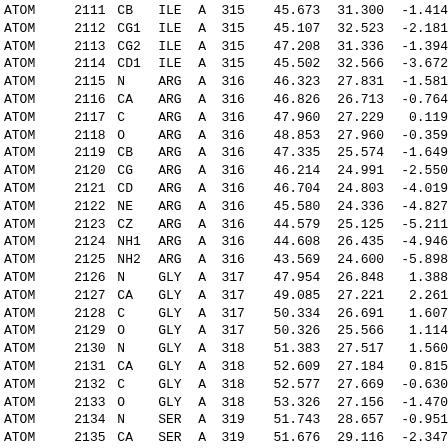| record | serial | name | resName | chainID | resSeq | x | y | z |
| --- | --- | --- | --- | --- | --- | --- | --- | --- |
| ATOM | 2111 | CB | ILE | A | 315 | 45.673 | 31.300 | -1.414 |
| ATOM | 2112 | CG1 | ILE | A | 315 | 45.107 | 32.523 | -2.181 |
| ATOM | 2113 | CG2 | ILE | A | 315 | 47.208 | 31.336 | -1.394 |
| ATOM | 2114 | CD1 | ILE | A | 315 | 45.502 | 32.566 | -3.672 |
| ATOM | 2115 | N | ARG | A | 316 | 46.323 | 27.831 | -1.581 |
| ATOM | 2116 | CA | ARG | A | 316 | 46.826 | 26.713 | -0.764 |
| ATOM | 2117 | C | ARG | A | 316 | 47.960 | 27.229 | 0.119 |
| ATOM | 2118 | O | ARG | A | 316 | 48.853 | 27.960 | -0.359 |
| ATOM | 2119 | CB | ARG | A | 316 | 47.335 | 25.574 | -1.649 |
| ATOM | 2120 | CG | ARG | A | 316 | 46.214 | 24.991 | -2.550 |
| ATOM | 2121 | CD | ARG | A | 316 | 46.704 | 24.803 | -4.019 |
| ATOM | 2122 | NE | ARG | A | 316 | 45.580 | 24.336 | -4.827 |
| ATOM | 2123 | CZ | ARG | A | 316 | 44.579 | 25.125 | -5.211 |
| ATOM | 2124 | NH1 | ARG | A | 316 | 44.608 | 26.435 | -4.946 |
| ATOM | 2125 | NH2 | ARG | A | 316 | 43.569 | 24.600 | -5.898 |
| ATOM | 2126 | N | GLY | A | 317 | 47.954 | 26.848 | 1.388 |
| ATOM | 2127 | CA | GLY | A | 317 | 49.085 | 27.221 | 2.261 |
| ATOM | 2128 | C | GLY | A | 317 | 50.334 | 26.691 | 1.607 |
| ATOM | 2129 | O | GLY | A | 317 | 50.326 | 25.566 | 1.114 |
| ATOM | 2130 | N | GLY | A | 318 | 51.383 | 27.517 | 1.560 |
| ATOM | 2131 | CA | GLY | A | 318 | 52.609 | 27.184 | 0.815 |
| ATOM | 2132 | C | GLY | A | 318 | 52.577 | 27.669 | -0.630 |
| ATOM | 2133 | O | GLY | A | 318 | 53.326 | 27.156 | -1.470 |
| ATOM | 2134 | N | SER | A | 319 | 51.743 | 28.657 | -0.951 |
| ATOM | 2135 | CA | SER | A | 319 | 51.676 | 29.116 | -2.347 |
| ATOM | 2136 | C | SER | A | 319 | 51.247 | 30.559 | -2.514 |
| ATOM | 2137 | O | SER | A | 319 | 50.758 | 31.174 | -1.575 |
| ATOM | 2138 | CB | SER | A | 319 | 50.750 | 28.191 | -3.191 |
| ATOM | 2139 | OG | SER | A | 319 | 49.396 | 28.459 | -2.918 |
| ATOM | 2140 | N | ALA | A | 320 | 51.431 | 31.085 | -3.731 |